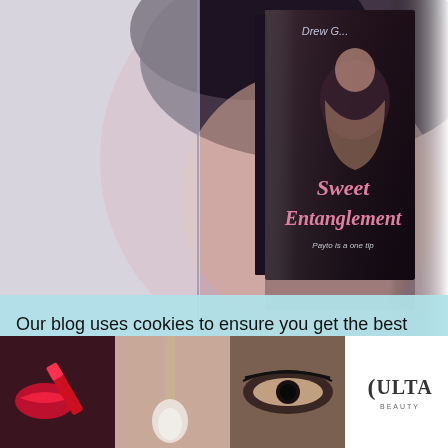[Figure (illustration): Screenshot of a blog page showing a book cover for 'Sweet Entanglement' by Drew G., with a woman's face in the background, a vertical divider line on the left, and 'And the winner is...' text below the book. Overlaid by a cookie consent notice, an infolinks badge, and a bottom ad banner for ULTA beauty with makeup imagery and 'SHOP NOW' text.]
And the winner is...
Our blog uses cookies to ensure you get the best experience while visiting. Please refer to our Privacy Policy by using the navigation above
infolinks
SHOP NOW